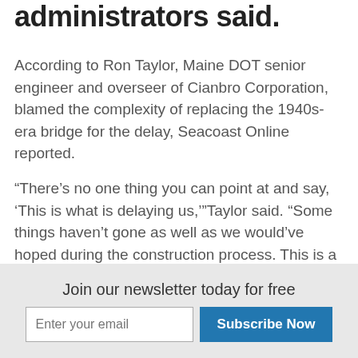administrators said.
According to Ron Taylor, Maine DOT senior engineer and overseer of Cianbro Corporation, blamed the complexity of replacing the 1940s-era bridge for the delay, Seacoast Online reported.
“There’s no one thing you can point at and say, ‘This is what is delaying us,’”Taylor said. “Some things haven’t gone as well as we would’ve hoped during the construction process. This is a complicated project, and we’re constantly evaluating the schedule, and the open date could change in either direction, but our latest schedule is to have the bridge open in early
Join our newsletter today for free